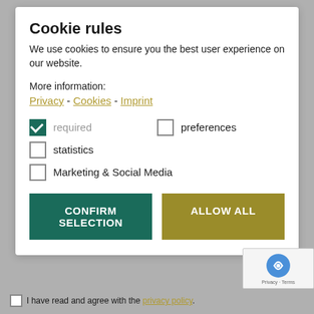Cookie rules
We use cookies to ensure you the best user experience on our website.
More information:
Privacy - Cookies - Imprint
required (checked)
preferences (unchecked)
statistics (unchecked)
Marketing & Social Media (unchecked)
CONFIRM SELECTION
ALLOW ALL
I have read and agree with the privacy policy.